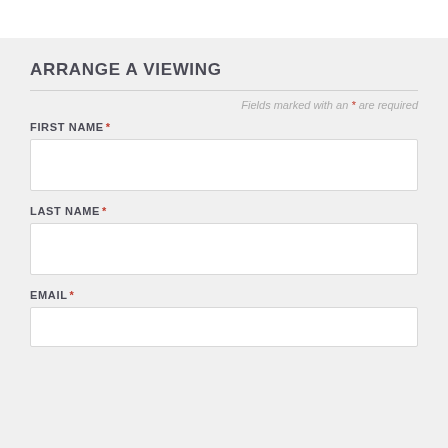ARRANGE A VIEWING
Fields marked with an * are required
FIRST NAME *
LAST NAME *
EMAIL *